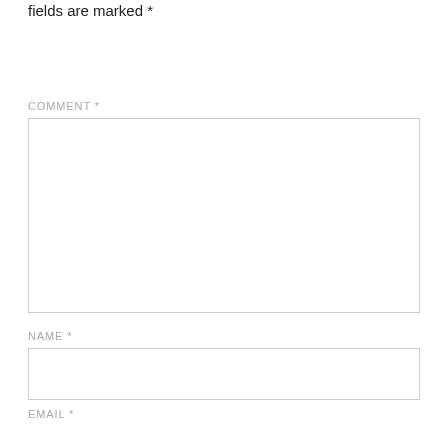fields are marked *
COMMENT *
[Figure (other): Empty comment textarea input box]
NAME *
[Figure (other): Empty name text input box]
EMAIL *